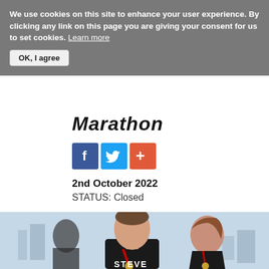We use cookies on this site to enhance your user experience. By clicking any link on this page you are giving your consent for us to set cookies. Learn more
OK, I agree
Marathon
[Figure (other): Social media share icons: Facebook (blue), Twitter (blue), and a red plus/add button]
2nd October 2022
STATUS: Closed
[Figure (photo): Photo of marathon runners holding medals. A man in a black shirt labeled STEVE with a red lanyard medal smiles at the camera, alongside a woman also with a medal. A blurred figure is visible in the background on the left. Sky and distant buildings visible behind them.]